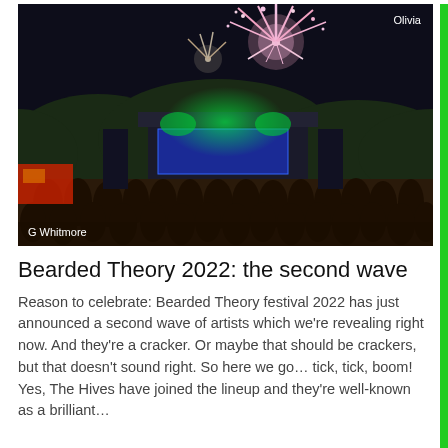[Figure (photo): Night-time festival scene with fireworks exploding above a large illuminated stage, crowd of people in the foreground on muddy ground. Photo credits: 'Olivia' top right, 'G Whitmore' bottom left.]
Bearded Theory 2022: the second wave
Reason to celebrate: Bearded Theory festival 2022 has just announced a second wave of artists which we're revealing right now. And they're a cracker. Or maybe that should be crackers, but that doesn't sound right. So here we go… tick, tick, boom! Yes, The Hives have joined the lineup and they're well-known as a brilliant…